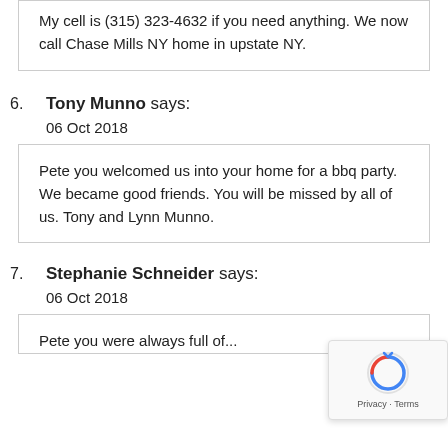My cell is (315) 323-4632 if you need anything. We now call Chase Mills NY home in upstate NY.
6. Tony Munno says: 06 Oct 2018
Pete you welcomed us into your home for a bbq party. We became good friends. You will be missed by all of us. Tony and Lynn Munno.
7. Stephanie Schneider says: 06 Oct 2018
Pete you were always full of...